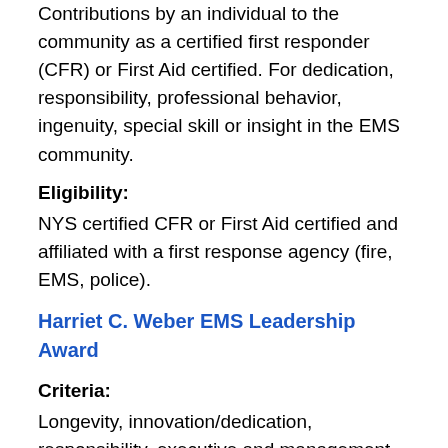Contributions by an individual to the community as a certified first responder (CFR) or First Aid certified. For dedication, responsibility, professional behavior, ingenuity, special skill or insight in the EMS community.
Eligibility:
NYS certified CFR or First Aid certified and affiliated with a first response agency (fire, EMS, police).
Harriet C. Weber EMS Leadership Award
Criteria:
Longevity, innovation/dedication, responsibility, executive and management skills in establishing, maintaining, promoting or expanding EMS organizations, agencies, committees at the community and/or state level.
Eligibility:
EMS Agency level, or has experienced state to EMS